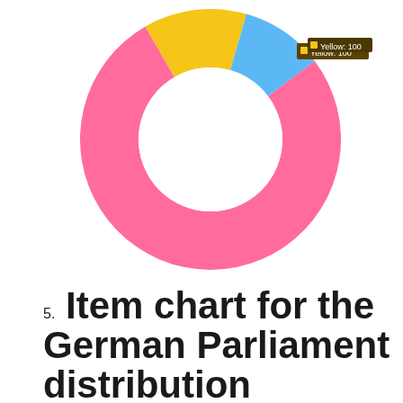[Figure (donut-chart): Item chart for the German Parliament distribution]
5. Item chart for the German Parliament distribution